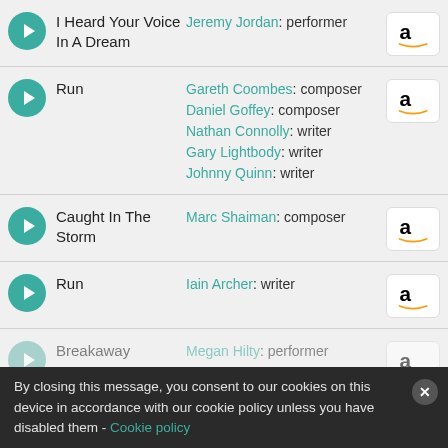I Heard Your Voice In A Dream — Jeremy Jordan: performer
Run — Gareth Coombes: composer, Daniel Goffey: composer, Nathan Connolly: writer, Gary Lightbody: writer, Johnny Quinn: writer
Caught In The Storm — Marc Shaiman: composer
Run — Iain Archer: writer
Breakaway — Megan Hilty: performer
By closing this message, you consent to our cookies on this device in accordance with our cookie policy unless you have disabled them - Cookie policy